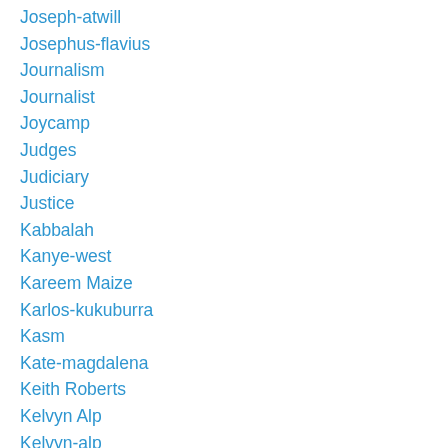Joseph-atwill
Josephus-flavius
Journalism
Journalist
Joycamp
Judges
Judiciary
Justice
Kabbalah
Kanye-west
Kareem Maize
Karlos-kukuburra
Kasm
Kate-magdalena
Keith Roberts
Kelvyn Alp
Kelvyn-alp
Ken-okeef
Ken Okeefe
Kerry-cassidy
Kevin-barrett